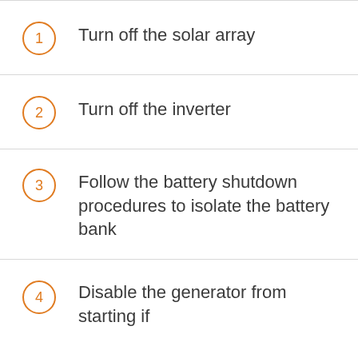1 Turn off the solar array
2 Turn off the inverter
3 Follow the battery shutdown procedures to isolate the battery bank
4 Disable the generator from starting if